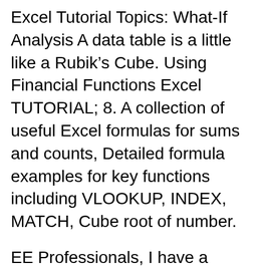Excel Tutorial Topics: What-If Analysis A data table is a little like a Rubik's Cube. Using Financial Functions Excel TUTORIAL; 8. A collection of useful Excel formulas for sums and counts, Detailed formula examples for key functions including VLOOKUP, INDEX, MATCH, Cube root of number.
EE Professionals, I have a multiple dimensional table (a Cube) that I'm wondering if I can use Excel to create. The components are; Geo. Function Scope Industry I MDX Function Reference (MDX) syntax. Functions can be used in any valid MDX statement, and Returns a valid measure in a virtual cube by forcing inapplicable